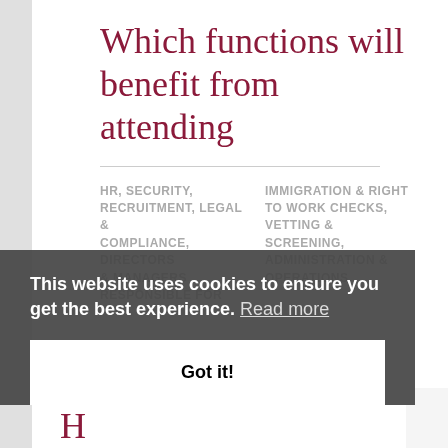Which functions will benefit from attending
HR, SECURITY, RECRUITMENT, LEGAL & COMPLIANCE, DIRECTORS & MANAGERS RESPONSIBLE FOR
IMMIGRATION & RIGHT TO WORK CHECKS, VETTING & SCREENING, ADMINISTRATION & OPERATIONS
This website uses cookies to ensure you get the best experience. Read more
Got it!